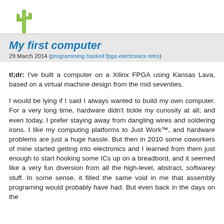My first computer
29 March 2014 (programming haskell fpga electronics retro)
tl;dr: I've built a computer on a Xilinx FPGA using Kansas Lava, based on a virtual machine design from the mid seventies.
I would be lying if I said I always wanted to build my own computer. For a very long time, hardware didn't tickle my curiosity at all; and even today, I prefer staying away from dangling wires and soldering irons. I like my computing platforms to Just Work™, and hardware problems are just a huge hassle. But then in 2010 some coworkers of mine started getting into electronics and I learned from them just enough to start hooking some ICs up on a breadbord, and it seemed like a very fun diversion from all the high-level, abstract, softwarey stuff. In some sense, it filled the same void in me that assembly programing would probably have had. But even back in the days on the